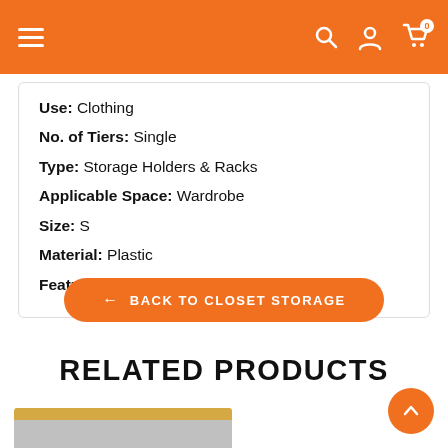Navigation bar with menu, search, account, and cart icons
Use: Clothing
No. of Tiers: Single
Type: Storage Holders & Racks
Applicable Space: Wardrobe
Size: S
Material: Plastic
Feature: Eco-Friendly
← BACK TO CLOSET STORAGE
RELATED PRODUCTS
[Figure (photo): Partial view of a wooden storage product at the bottom of the page]